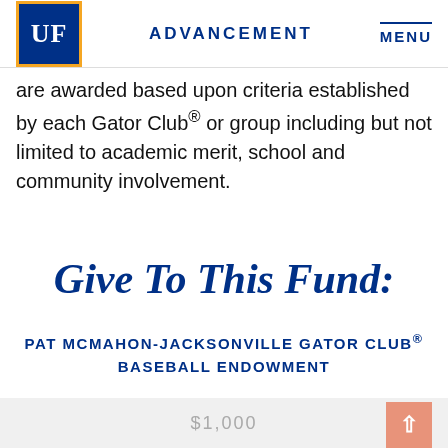UF ADVANCEMENT MENU
are awarded based upon criteria established by each Gator Club® or group including but not limited to academic merit, school and community involvement.
Give To This Fund:
PAT MCMAHON-JACKSONVILLE GATOR CLUB® BASEBALL ENDOWMENT
$1,000